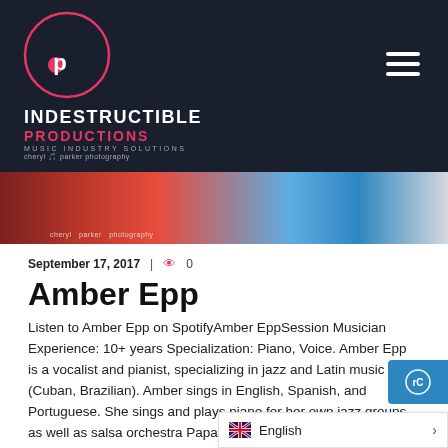[Figure (logo): Indestructible Productions logo — circular music note emblem in pink/red on dark background, with text INDESTRUCTIBLE PRODUCTIONS MUSIC INDUSTRY SOLUTIONS]
[Figure (photo): Colorful fabric or clothing strip in red, coral, and teal colors with 'cheryl parker photography' watermark]
September 17, 2017  |   0
Amber Epp
Listen to Amber Epp on SpotifyAmber EppSession Musician Experience: 10+ years Specialization: Piano, Voice. Amber Epp is a vocalist and pianist, specializing in jazz and Latin music (Cuban, Brazilian). Amber sings in English, Spanish, and Portuguese. She sings and plays piano for her own jazz groups, as well as salsa orchestra Papa Mambo. She has performed at the Winnipeg Folk Fes… Winnipeg Jazz Festival, has perform…